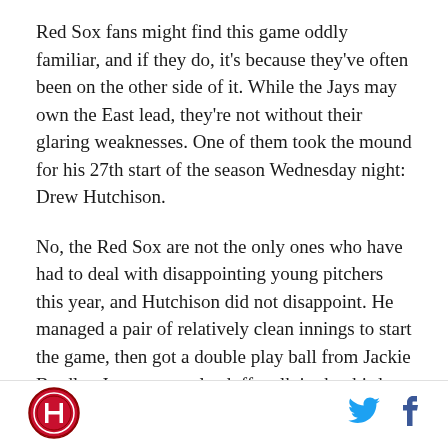Red Sox fans might find this game oddly familiar, and if they do, it's because they've often been on the other side of it. While the Jays may own the East lead, they're not without their glaring weaknesses. One of them took the mound for his 27th start of the season Wednesday night: Drew Hutchison.
No, the Red Sox are not the only ones who have had to deal with disappointing young pitchers this year, and Hutchison did not disappoint. He managed a pair of relatively clean innings to start the game, then got a double play ball from Jackie Bradley Jr. to erase a leadoff walk in the third. But with two down he fell behind Mookie Betts 2-1, then gave him a fastball over
[Figure (logo): Circular red and black sports logo with 'H' initial mark]